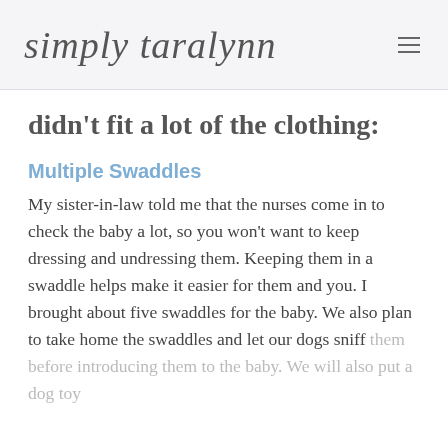simply taralynn
didn't fit a lot of the clothing:
Multiple Swaddles
My sister-in-law told me that the nurses come in to check the baby a lot, so you won't want to keep dressing and undressing them. Keeping them in a swaddle helps make it easier for them and you. I brought about five swaddles for the baby. We also plan to take home the swaddles and let our dogs sniff them before introducing them to the baby. We will also put a dog toy